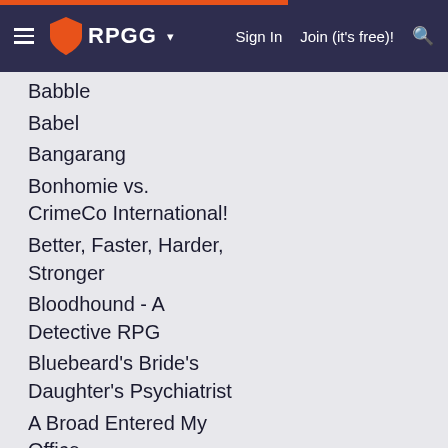RPGG | Sign In | Join (it's free)!
Babble
Babel
Bangarang
Bonhomie vs. CrimeCo International!
Better, Faster, Harder, Stronger
Bloodhound - A Detective RPG
Bluebeard's Bride's Daughter's Psychiatrist
A Broad Entered My Office
Burn Up Bad House
Burnt Chrome Deconstruction
Die, Nirûth, Die!
Dragon/Dragonslayer
Drink Tea. Forget.
Eating Contest
#Endpocalypse